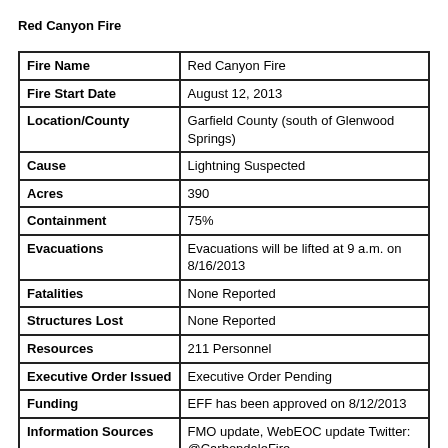Red Canyon Fire
| Field | Value |
| --- | --- |
| Fire Name | Red Canyon Fire |
| Fire Start Date | August 12, 2013 |
| Location/County | Garfield County (south of Glenwood Springs) |
| Cause | Lightning Suspected |
| Acres | 390 |
| Containment | 75% |
| Evacuations | Evacuations will be lifted at 9 a.m. on 8/16/2013 |
| Fatalities | None Reported |
| Structures Lost | None Reported |
| Resources | 211 Personnel |
| Executive Order Issued | Executive Order Pending |
| Funding | EFF has been approved on 8/12/2013 |
| Information Sources | FMO update, WebEOC update Twitter: @CarbondaleFire |